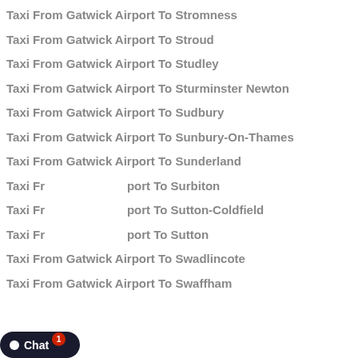Taxi From Gatwick Airport To Stromness
Taxi From Gatwick Airport To Stroud
Taxi From Gatwick Airport To Studley
Taxi From Gatwick Airport To Sturminster Newton
Taxi From Gatwick Airport To Sudbury
Taxi From Gatwick Airport To Sunbury-On-Thames
Taxi From Gatwick Airport To Sunderland
Taxi From Gatwick Airport To Surbiton
Taxi From Gatwick Airport To Sutton-Coldfield
Taxi From Gatwick Airport To Sutton
Taxi From Gatwick Airport To Swadlincote
Taxi From Gatwick Airport To Swaffham